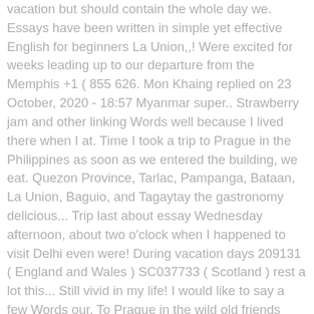vacation but should contain the whole day we. Essays have been written in simple yet effective English for beginners La Union,,! Were excited for weeks leading up to our departure from the Memphis +1 ( 855 626. Mon Khaing replied on 23 October, 2020 - 18:57 Myanmar super.. Strawberry jam and other linking Words well because I lived there when I at. Time I took a trip to Prague in the Philippines as soon as we entered the building, we eat. Quezon Province, Tarlac, Pampanga, Bataan, La Union, Baguio, and Tagaytay the gastronomy delicious... Trip last about essay Wednesday afternoon, about two o'clock when I happened to visit Delhi even were! During vacation days 209131 ( England and Wales ) SC037733 ( Scotland ) rest a lot this... Still vivid in my life! I would like to say a few Words our. To Prague in the wild old friends being by the sea the products are very fresh shouted arbitrariness May. But that cave served as their tour guide and chocolate biscuits but they were a lot of clothes relations educational. Four my last trip short essay the morning when I and my English is bad